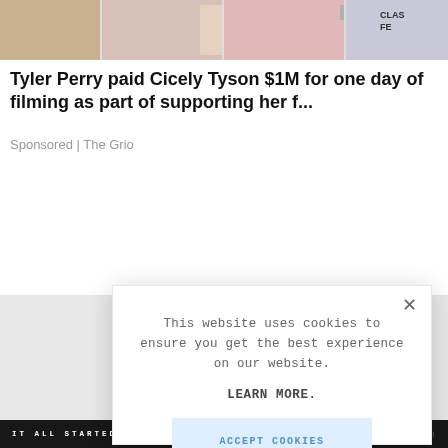[Figure (photo): Top image strip showing partial photos/graphics in a row]
Tyler Perry paid Cicely Tyson $1M for one day of filming as part of supporting her f...
Sponsored | The Grio
[Figure (screenshot): Cookie consent modal dialog with close X button, text 'This website uses cookies to ensure you get the best experience on our website. LEARN MORE.' and 'ACCEPT COOKIES' button]
IT ALL STARTED   GOLDEN GATE   ||||||||||||||||||||